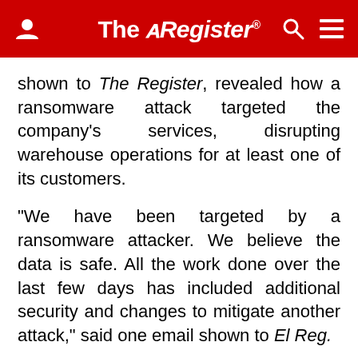The Register
shown to The Register, revealed how a ransomware attack targeted the company's services, disrupting warehouse operations for at least one of its customers.
"We have been targeted by a ransomware attacker. We believe the data is safe. All the work done over the last few days has included additional security and changes to mitigate another attack," said one email shown to El Reg.